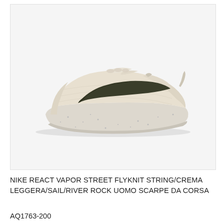[Figure (photo): Nike React Vapor Street Flyknit sneaker in light beige/cream colorway with dark olive/black Swoosh logo, shown in lateral profile view against a light gray background. The shoe features a knit upper and a thick speckled foam midsole.]
NIKE REACT VAPOR STREET FLYKNIT STRING/CREMA LEGGERA/SAIL/RIVER ROCK UOMO SCARPE DA CORSA AQ1763-200